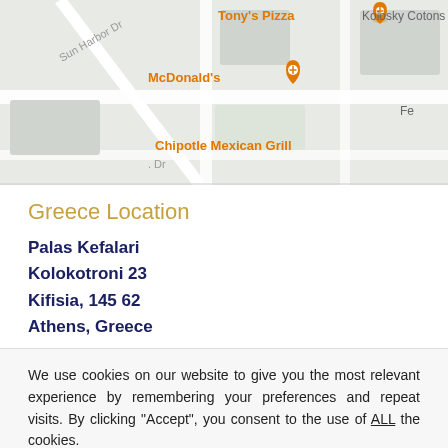[Figure (map): Google Maps screenshot showing local area with McDonald's, Tony's Pizza, Chipotle Mexican Grill, Kolosky Cotons labels and pin markers on Sun Harbor Dr area.]
Greece Location
Palas Kefalari
Kolokotroni 23
Kifisia, 145 62
Athens, Greece
We use cookies on our website to give you the most relevant experience by remembering your preferences and repeat visits. By clicking “Accept”, you consent to the use of ALL the cookies.
Do not sell my personal information.
Read More   Cookie Settings   Accept